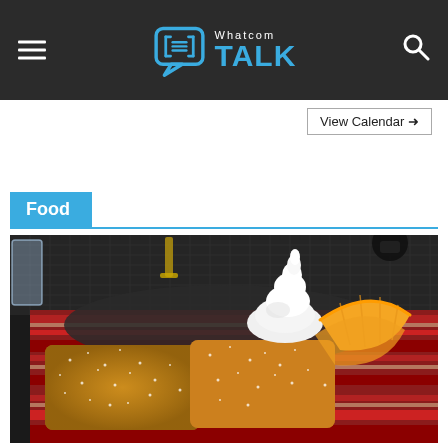Whatcom TALK
View Calendar →
Food
[Figure (photo): A plate of French toast or crepes dusted with powdered sugar, topped with whipped cream and orange slices, served on a striped red plate on a metal mesh table.]